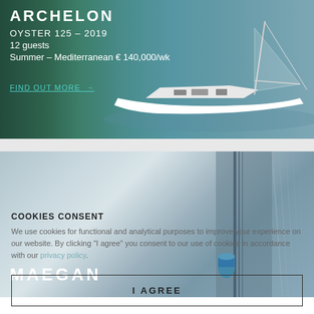[Figure (photo): Sailing yacht Archelon (Oyster 125, 2019) on blue Mediterranean water with tropical greenery in background. White hull yacht sailing. Text overlay: ARCHELON, OYSTER 125 - 2019, 12 guests, Summer - Mediterranean € 140,000/wk, FIND OUT MORE →]
[Figure (photo): Partial view of yacht Maegan - close-up of sail/rigging elements in grey-blue tones. Text overlay: MAEGAN]
COOKIES CONSENT
We use cookies for functional and analytical purposes to improve your experience on our website. By clicking "I agree" you consent to our use of cookies in accordance with our privacy policy.
I AGREE